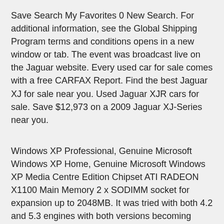Save Search My Favorites 0 New Search. For additional information, see the Global Shipping Program terms and conditions opens in a new window or tab. The event was broadcast live on the Jaguar website. Every used car for sale comes with a free CARFAX Report. Find the best Jaguar XJ for sale near you. Used Jaguar XJR cars for sale. Save $12,973 on a 2009 Jaguar XJ-Series near you.
Windows XP Professional, Genuine Microsoft Windows XP Home, Genuine Microsoft Windows XP Media Centre Edition Chipset ATI RADEON X1100 Main Memory 2 x SODIMM socket for expansion up to 2048MB. It was tried with both 4.2 and 5.3 engines with both versions becoming known as XJ33 or XJ34, depending on which engine was on board at the time. Classics on Autotrader has listings for new and used Jaguar XJ6 Classics for sale near you. I ve decided to sell to work on some other projects. The 2003 to 2009 Jaguar XJ Sedan upholds Jaguar s long legacy of combining stylish